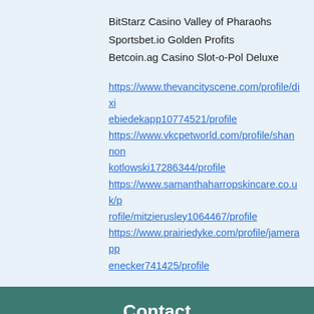BitStarz Casino Valley of Pharaohs
Sportsbet.io Golden Profits
Betcoin.ag Casino Slot-o-Pol Deluxe
https://www.thevancityscene.com/profile/dixiebiedekapp10774521/profile
https://www.vkcpetworld.com/profile/shannonkotlowski17286344/profile
https://www.samanthaharropskincare.co.uk/profile/mitzierusley1064467/profile
https://www.prairiedyke.com/profile/jamerappенecker741425/profile
Contact
Email: jan@jandavidson.org | Phone: 317-647-6645
Social